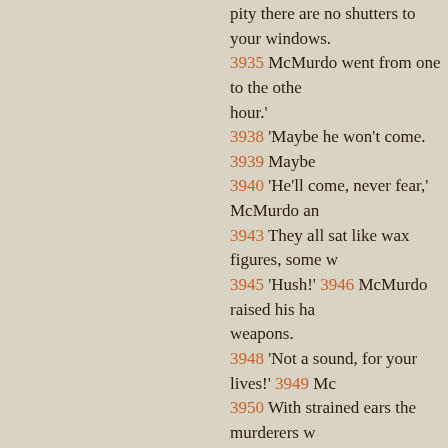pity there are no shutters to your windows. 3935 McMurdo went from one to the other hour.' 3938 'Maybe he won't come. 3939 Maybe 3940 'He'll come, never fear,' McMurdo an 3943 They all sat like wax figures, some w 3945 'Hush!' 3946 McMurdo raised his ha weapons. 3948 'Not a sound, for your lives!' 3949 Mc 3950 With strained ears the murderers w him open the outer door. 3953 There we unfamiliar voice. 3955 An instant later cam trap. 3957 Tiger Cormac laughed horribly, 3958 'Be quiet, you fool!' he whispered. 39 3960 There was a mutter of conversation appeared, his finger upon his lip. 3963 He came to the end of the table and has great work to do. 3965 His face had 3967 He had become a visible leader of r singular gaze, he looked from man to man 3970 'Well,' cried Boss McGinty at last, 'is 3972 'Yes,' McMurdo answered slowly. 39 3975 There were ten seconds after that b The hissing of a kettle upon the stove o